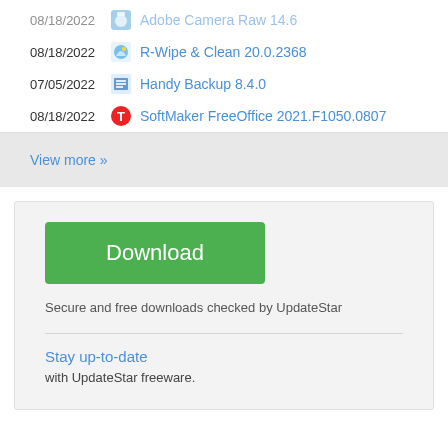08/18/2022  R-Wipe & Clean 20.0.2368
07/05/2022  Handy Backup 8.4.0
08/18/2022  SoftMaker FreeOffice 2021.F1050.0807
View more »
[Figure (other): Green Download button]
Secure and free downloads checked by UpdateStar
Stay up-to-date
with UpdateStar freeware.